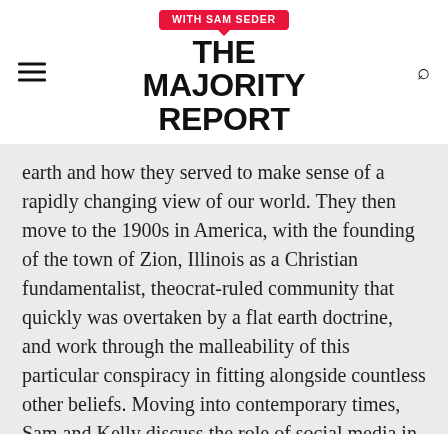[Figure (logo): The Majority Report with Sam Seder logo — bold black uppercase text with red speech bubble above reading WITH SAM SEDER]
earth and how they served to make sense of a rapidly changing view of our world. They then move to the 1900s in America, with the founding of the town of Zion, Illinois as a Christian fundamentalist, theocrat-ruled community that quickly was overtaken by a flat earth doctrine, and work through the malleability of this particular conspiracy in fitting alongside countless other beliefs. Moving into contemporary times, Sam and Kelly discuss the role of social media in giving flat earth the boost it needed to push it onto the fringes of the mainstream (oxymoron, sorry), as they dive into the artificial promotion on YouTube and Facebook before they look to the relationship between flat